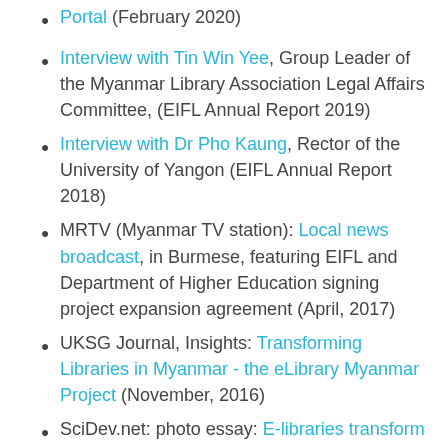Portal (February 2020)
Interview with Tin Win Yee, Group Leader of the Myanmar Library Association Legal Affairs Committee, (EIFL Annual Report 2019)
Interview with Dr Pho Kaung, Rector of the University of Yangon (EIFL Annual Report 2018)
MRTV (Myanmar TV station): Local news broadcast, in Burmese, featuring EIFL and Department of Higher Education signing project expansion agreement (April, 2017)
UKSG Journal, Insights: Transforming Libraries in Myanmar - the eLibrary Myanmar Project (November, 2016)
SciDev.net: photo essay: E-libraries transform scholarship in Myanmar, photo essay (July, 2015)
Interview with Professor Dr Thida Aye...